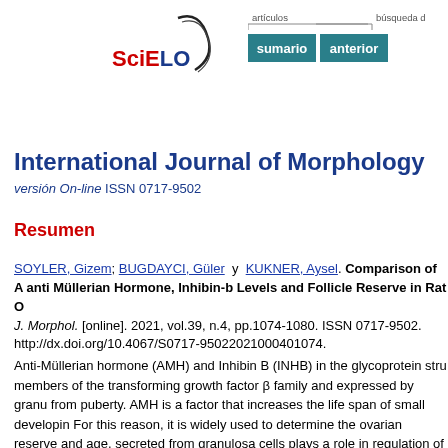[Figure (logo): SciELO logo with stylized arc graphic and red/black text]
[Figure (screenshot): Navigation bar with 'artículos' label, 'sumario' and 'anterior' teal buttons, and 'búsqueda d' text]
International Journal of Morphology
versión On-line ISSN 0717-9502
Resumen
SOYLER, Gizem; BUGDAYCI, Güler y KUKNER, Aysel. Comparison of A anti Müllerian Hormone, Inhibin-b Levels and Follicle Reserve in Rat O J. Morphol. [online]. 2021, vol.39, n.4, pp.1074-1080. ISSN 0717-9502. http://dx.doi.org/10.4067/S0717-95022021000401074.
Anti-Müllerian hormone (AMH) and Inhibin B (INHB) in the glycoprotein stru members of the transforming growth factor β family and expressed by granu from puberty. AMH is a factor that increases the life span of small developin For this reason, it is widely used to determine the ovarian reserve and age. secreted from granulosa cells plays a role in regulation of the Follicle Stimul Factor (FSH) and determination of the follicle diameter. There are few studie effect of these two age-related hormones on ovarian histology in rats. In this AMH and INHB expression in ovarian tissues of female rats of different age